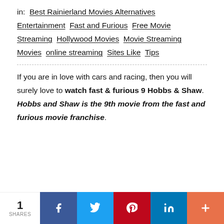in:  Best Rainierland Movies Alternatives  Entertainment  Fast and Furious  Free Movie Streaming  Hollywood Movies  Movie Streaming  Movies  online streaming  Sites Like  Tips
If you are in love with cars and racing, then you will surely love to watch fast & furious 9 Hobbs & Shaw. Hobbs and Shaw is the 9th movie from the fast and furious movie franchise.
1 SHARES | Facebook | Twitter | Pinterest | LinkedIn | More